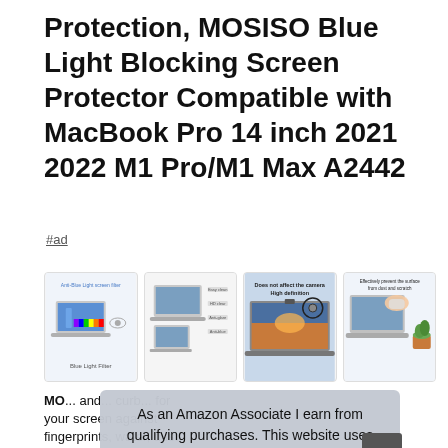Protection, MOSISO Blue Light Blocking Screen Protector Compatible with MacBook Pro 14 inch 2021 2022 M1 Pro/M1 Max A2442
#ad
[Figure (photo): Four product thumbnail images of MOSISO Blue Light Blocking Screen Protector for MacBook Pro 14 inch, showing blue light filtering diagram, product features, camera compatibility, and anti-scratch protection.]
MO... and... curb... for your screen against fingerprints, water, dust, scratches
As an Amazon Associate I earn from qualifying purchases. This website uses the only necessary cookies to ensure you get the best experience on our website. More information